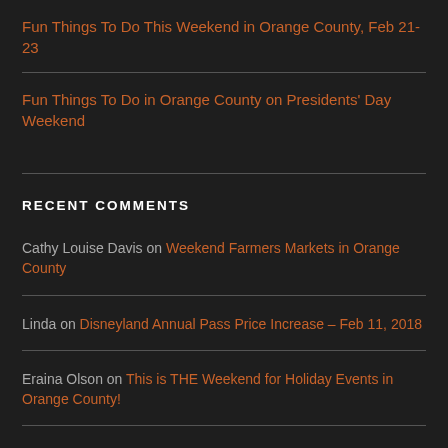Fun Things To Do This Weekend in Orange County, Feb 21-23
Fun Things To Do in Orange County on Presidents' Day Weekend
RECENT COMMENTS
Cathy Louise Davis on Weekend Farmers Markets in Orange County
Linda on Disneyland Annual Pass Price Increase – Feb 11, 2018
Eraina Olson on This is THE Weekend for Holiday Events in Orange County!
Marilyn on This is THE Weekend for Holiday Events in